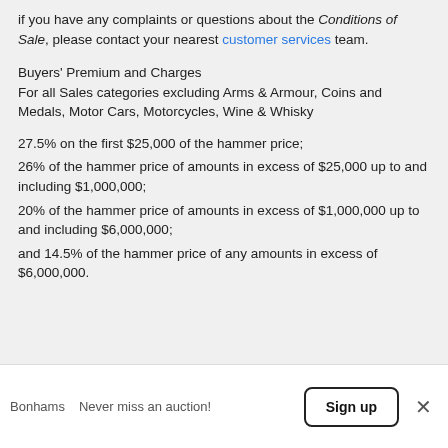if you have any complaints or questions about the Conditions of Sale, please contact your nearest customer services team.
Buyers' Premium and Charges
For all Sales categories excluding Arms & Armour, Coins and Medals, Motor Cars, Motorcycles, Wine & Whisky
27.5% on the first $25,000 of the hammer price;
26% of the hammer price of amounts in excess of $25,000 up to and including $1,000,000;
20% of the hammer price of amounts in excess of $1,000,000 up to and including $6,000,000;
and 14.5% of the hammer price of any amounts in excess of $6,000,000.
Bonhams   Never miss an auction!   Sign up